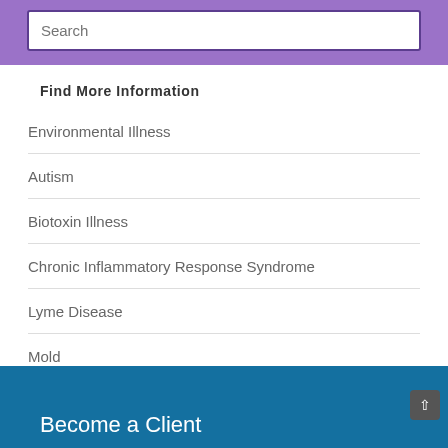Search
Find More Information
Environmental Illness
Autism
Biotoxin Illness
Chronic Inflammatory Response Syndrome
Lyme Disease
Mold
Become a Client